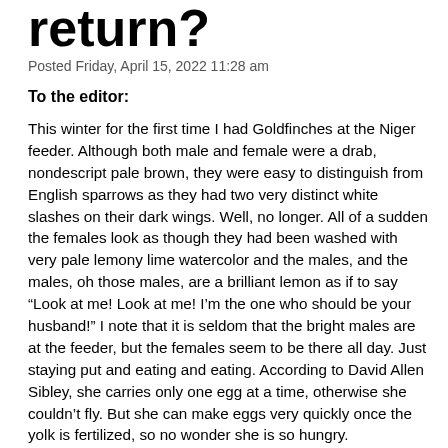return?
Posted Friday, April 15, 2022 11:28 am
To the editor:
This winter for the first time I had Goldfinches at the Niger feeder. Although both male and female were a drab, nondescript pale brown, they were easy to distinguish from English sparrows as they had two very distinct white slashes on their dark wings. Well, no longer. All of a sudden the females look as though they had been washed with very pale lemony lime watercolor and the males, and the males, oh those males, are a brilliant lemon as if to say “Look at me! Look at me! I’m the one who should be your husband!” I note that it is seldom that the bright males are at the feeder, but the females seem to be there all day. Just staying put and eating and eating. According to David Allen Sibley, she carries only one egg at a time, otherwise she couldn’t fly. But she can make eggs very quickly once the yolk is fertilized, so no wonder she is so hungry.
On Thanksgiving Day I had a wonderful treat. A gorgeous